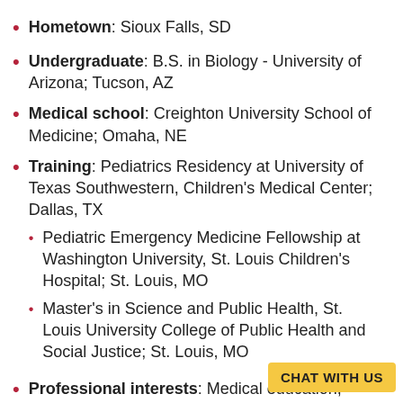Hometown: Sioux Falls, SD
Undergraduate: B.S. in Biology - University of Arizona; Tucson, AZ
Medical school: Creighton University School of Medicine; Omaha, NE
Training: Pediatrics Residency at University of Texas Southwestern, Children's Medical Center; Dallas, TX
Pediatric Emergency Medicine Fellowship at Washington University, St. Louis Children's Hospital; St. Louis, MO
Master's in Science and Public Health, St. Louis University College of Public Health and Social Justice; St. Louis, MO
Professional interests: Medical education, mentoring toward fellowship, advancing scholarly production in trainees, proce…